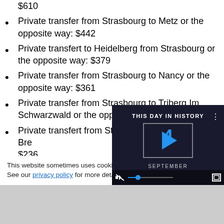$610
Private transfer from Strasbourg to Metz or the opposite way: $442
Private transfert to Heidelberg from Strasbourg or the opposite way: $379
Private transfer from Strasbourg to Nancy or the opposite way: $361
Private transfer from Strasbourg to Triberg Im Schwarzwald or the opposite way: $274
Private transfert from Strasbourg to Freiburg im Breisgau or the opposite way: $236
This website sometimes uses cookies for tracking purposes. See our privacy policy for more details.
[Figure (screenshot): Video player overlay showing 'THIS DAY IN HISTORY' with the number 4 and 'SEPTEMBER' text, with playback controls at the bottom.]